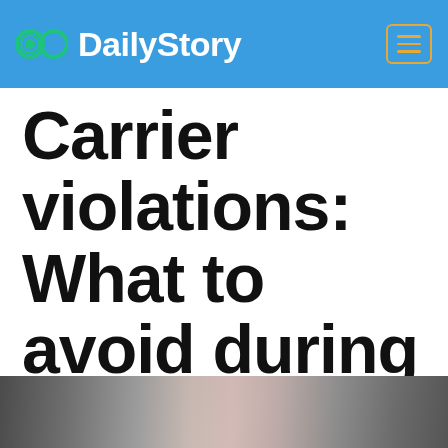DailyStory
Carrier violations: What to avoid during SMS text marketing
[Figure (photo): Partial grayscale photo at the bottom of the page, showing what appears to be a person, cropped and partially visible.]